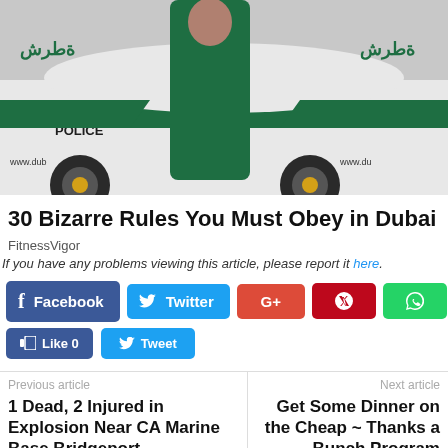[Figure (photo): A person in a green dress standing next to a Dubai Police white and green car with 'POLICE' text visible and Arabic branding. Photo appears to be taken outdoors.]
30 Bizarre Rules You Must Obey in Dubai
FitnessVigor
If you have any problems viewing this article, please report it here.
[Figure (infographic): Social sharing buttons: Facebook, Twitter, Google+, Pinterest, WhatsApp, Like 0, Tweet]
Previous article
1 Dead, 2 Injured in Explosion Near CA Marine Base Bridgeport
Next article
Get Some Dinner on the Cheap ~ Thanks a Bunch Program